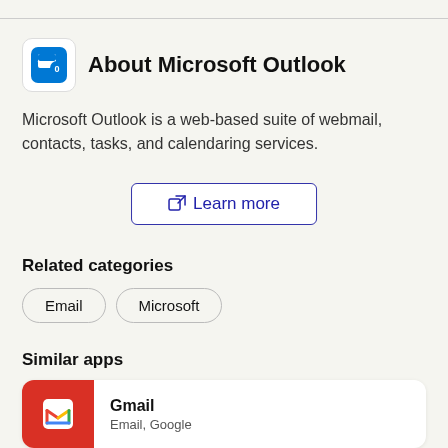About Microsoft Outlook
Microsoft Outlook is a web-based suite of webmail, contacts, tasks, and calendaring services.
Learn more
Related categories
Email
Microsoft
Similar apps
Gmail
Email, Google